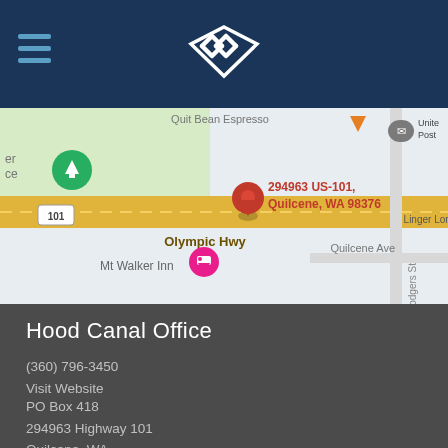Hood Canal Office - header navigation bar
[Figure (map): Google Maps screenshot showing 294963 US-101, Quilcene, WA 98376 with a red location pin on Olympic Hwy (US-101). Nearby landmarks: Mt Walker Inn, Quit Bean Espresso, United States Post Office, Linger Long. Streets visible: Quilcene Ave, Rodgers St.]
Hood Canal Office
(360) 796-3450
Visit Website
PO Box 418
294963 Highway 101
Quilcene, WA
98376